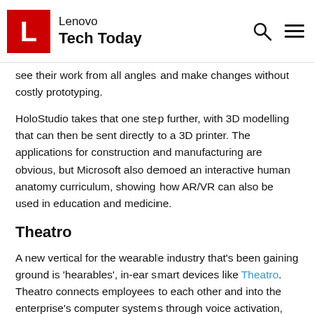Lenovo Tech Today
see their work from all angles and make changes without costly prototyping.
HoloStudio takes that one step further, with 3D modelling that can then be sent directly to a 3D printer. The applications for construction and manufacturing are obvious, but Microsoft also demoed an interactive human anatomy curriculum, showing how AR/VR can also be used in education and medicine.
Theatro
A new vertical for the wearable industry that’s been gaining ground is ‘hearables’, in-ear smart devices like Theatro. Theatro connects employees to each other and into the enterprise’s computer systems through voice activation, using a personal assistant and mobile apps.